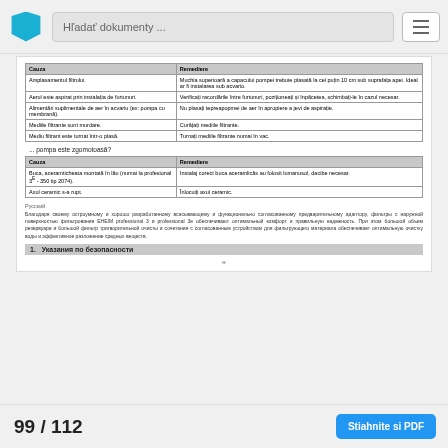Hľadať dokumenty ...
| Cauza | Remediere |
| --- | --- |
| Amplasamentul filtrului. | Muchia superioară a capacului pompei trebuie plasată la cel puțin 10 cm sub suprafața apei. Ideal ar fi instalarea sub acvario. |
| Aerul este aspirat prin instalația de furtunuri. | Verificați racordările între furtunuri, poziționeați și înpăcetea, schimbați-le în cazul necesar. |
| Alimentări suplimentale de aer în acvariu (ex: pompa cu membrană). | Nu plasați tepreapopmei de aer în apropiere a jevi de aspirație. |
| Mediile filtrante sunt murdare. | Curățați mediile filtrante. |
| Mediu filtrant este turnat într-o plasă. | Turnați mediile filtrante numai în vac. |
... pompa este zgomotoasă?
| Cauza | Remediere |
| --- | --- |
| Buca, aceramticheata montată în lău (numai la profesional 3E - 350 tip 2074). | Instalaj corect buca aceramlicăs au folosit lumanusol, dacibe necesar. |
| Axul ceramic s-a rupt. | Înlocuiți axul ceramic. |
Русский
Благодаря своему остроумному и хорошо разработанному всасывающему и функционально согласованному предварительному адаптору, фильтры с наружной поверхностью фильтрования EHEIM professional 3 и professional 3e обеспечивают оптимальный комфорт и правильную надежность. При этом большой объем резервуара и большой фильтр тригворительной очисты и сочетания с согласованным устройством для фильтрующего материала обеспечивает оптимальную очистку воды и эффективное разложение средных веществ.
1.  Указания по безопасности
н
99 / 112
Stiahnite si PDF